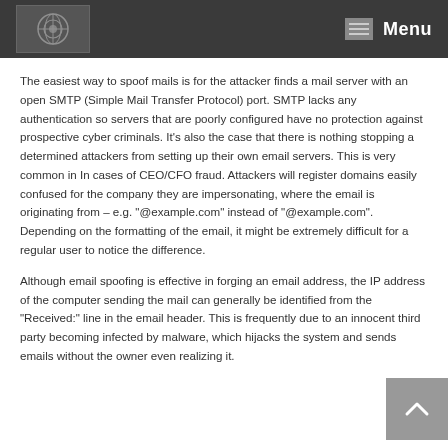Menu
The easiest way to spoof mails is for the attacker finds a mail server with an open SMTP (Simple Mail Transfer Protocol) port. SMTP lacks any authentication so servers that are poorly configured have no protection against prospective cyber criminals. It’s also the case that there is nothing stopping a determined attackers from setting up their own email servers. This is very common in In cases of CEO/CFO fraud. Attackers will register domains easily confused for the company they are impersonating, where the email is originating from – e.g. “@example.com” instead of “@example.com”. Depending on the formatting of the email, it might be extremely difficult for a regular user to notice the difference.
Although email spoofing is effective in forging an email address, the IP address of the computer sending the mail can generally be identified from the “Received:” line in the email header. This is frequently due to an innocent third party becoming infected by malware, which hijacks the system and sends emails without the owner even realizing it.